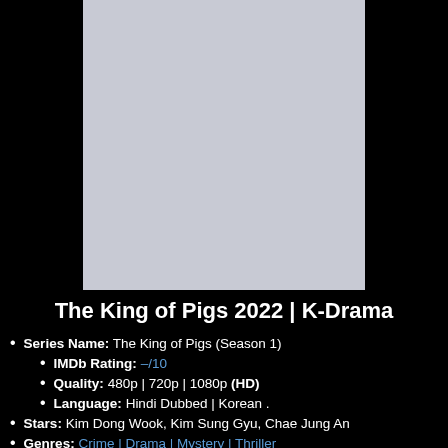[Figure (photo): Placeholder image area with light gray background representing a show poster]
The King of Pigs 2022 | K-Drama
Series Name: The King of Pigs (Season 1)
IMDb Rating: –/10
Quality: 480p | 720p | 1080p (HD)
Language: Hindi Dubbed | Korean .
Stars: Kim Dong Wook, Kim Sung Gyu, Chae Jung An
Genres: Crime | Drama | Mystery | Thriller